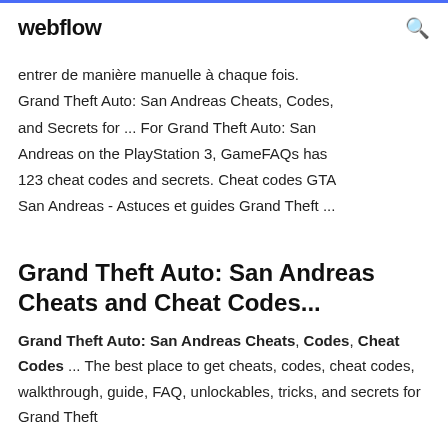webflow
entrer de manière manuelle à chaque fois. Grand Theft Auto: San Andreas Cheats, Codes, and Secrets for ... For Grand Theft Auto: San Andreas on the PlayStation 3, GameFAQs has 123 cheat codes and secrets. Cheat codes GTA San Andreas - Astuces et guides Grand Theft ...
Grand Theft Auto: San Andreas Cheats and Cheat Codes...
Grand Theft Auto: San Andreas Cheats, Codes, Cheat Codes ... The best place to get cheats, codes, cheat codes, walkthrough, guide, FAQ, unlockables, tricks, and secrets for Grand Theft